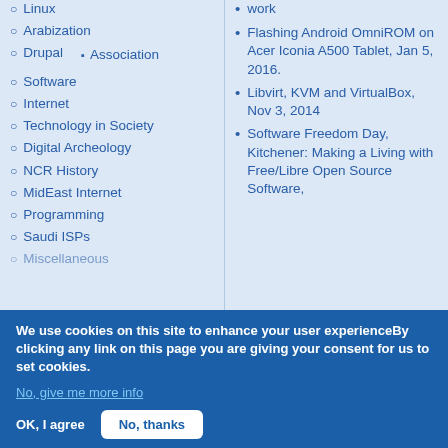Linux
Arabization
Drupal
Association
Software
Internet
Technology in Society
Digital Archeology
NCR History
MidEast Internet
Programming
Saudi ISPs
Miscellaneous
work
Flashing Android OmniROM on Acer Iconia A500 Tablet, Jan 5, 2016.
Libvirt, KVM and VirtualBox, Nov 3, 2014
Software Freedom Day, Kitchener: Making a Living with Free/Libre Open Source Software,
We use cookies on this site to enhance your user experienceBy clicking any link on this page you are giving your consent for us to set cookies.
No, give me more info
OK, I agree
No, thanks